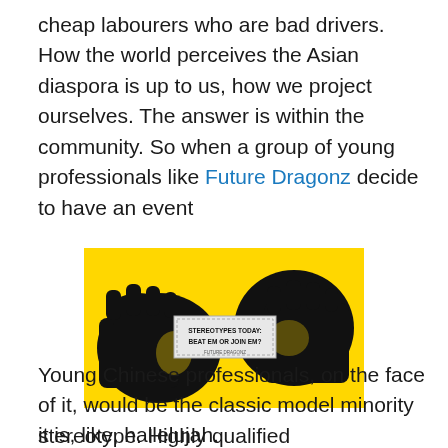cheap labourers who are bad drivers. How the world perceives the Asian diaspora is up to us, how we project ourselves. The answer is within the community. So when a group of young professionals like Future Dragonz decide to have an event
[Figure (illustration): Yellow and black high-contrast illustration of fists/hands with a label reading 'STEREOTYPES TODAY: BEAT EM OR JOIN EM?']
it is, like, hallelujah.
Young Chinese professionals, on the face of it, would be the classic model minority stereotype. Highly qualified